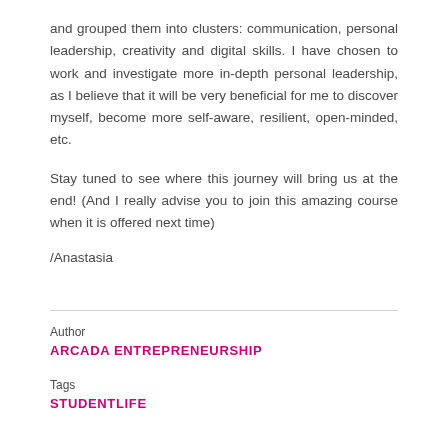and grouped them into clusters: communication, personal leadership, creativity and digital skills. I have chosen to work and investigate more in-depth personal leadership, as I believe that it will be very beneficial for me to discover myself, become more self-aware, resilient, open-minded, etc.
Stay tuned to see where this journey will bring us at the end! (And I really advise you to join this amazing course when it is offered next time)
/Anastasia
Author
ARCADA ENTREPRENEURSHIP
Tags
STUDENTLIFE